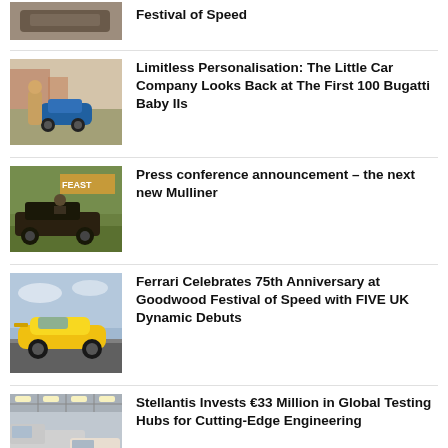[Figure (photo): Partial top photo of a car at Festival of Speed]
Festival of Speed
[Figure (photo): Person standing next to a blue vintage Bugatti Baby II small electric car outdoors]
Limitless Personalisation: The Little Car Company Looks Back at The First 100 Bugatti Baby IIs
[Figure (photo): Vintage open-wheel racing car at an event with FEAST signage in background]
Press conference announcement – the next new Mulliner
[Figure (photo): Yellow Ferrari supercar on a race track at Goodwood Festival of Speed]
Ferrari Celebrates 75th Anniversary at Goodwood Festival of Speed with FIVE UK Dynamic Debuts
[Figure (photo): Industrial testing hub interior with large vehicles and bright lighting]
Stellantis Invests €33 Million in Global Testing Hubs for Cutting-Edge Engineering